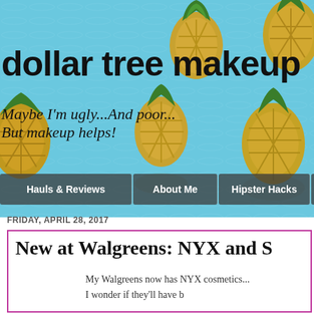[Figure (photo): Blog header banner with pineapples floating in blue water, featuring the blog title 'dollar tree makeup' in large bold black text, subtitle 'Maybe I'm ugly...And poor... But makeup helps!' in italic text, and a navigation bar with dark semi-transparent buttons.]
dollar tree makeup
Maybe I'm ugly...And poor...
But makeup helps!
Hauls & Reviews | About Me | Hipster Hacks | Ho
FRIDAY, APRIL 28, 2017
New at Walgreens: NYX and S
My Walgreens now has NYX cosmetics...
I wonder if they'll have b